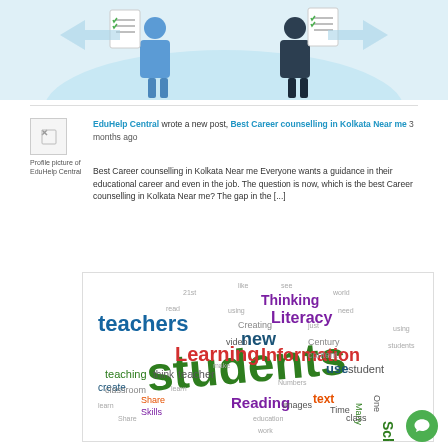[Figure (illustration): Top portion of an illustration showing two people holding clipboards/checklists on a light blue background]
[Figure (illustration): Profile picture of EduHelp Central — small icon with broken image indicator]
Profile picture of EduHelp Central
EduHelp Central wrote a new post, Best Career counselling in Kolkata Near me 3 months ago
Best Career counselling in Kolkata Near me Everyone wants a guidance in their educational career and even in the job. The question is now, which is the best Career counselling in Kolkata Near me? The gap in the [...]
[Figure (infographic): Word cloud image with education-related terms: students (largest, dark green), teachers, Learning, Information, Literacy, Thinking, new, Reading, School, teacher, teaching, text, use, student, create, think, classroom, video, Creating, content, Century, images, Time, class, Many, One, Share, skills, etc. in various colors (green, purple, red, blue)]